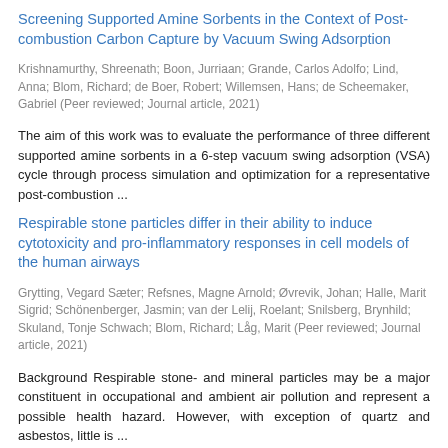Screening Supported Amine Sorbents in the Context of Post-combustion Carbon Capture by Vacuum Swing Adsorption
Krishnamurthy, Shreenath; Boon, Jurriaan; Grande, Carlos Adolfo; Lind, Anna; Blom, Richard; de Boer, Robert; Willemsen, Hans; de Scheemaker, Gabriel (Peer reviewed; Journal article, 2021)
The aim of this work was to evaluate the performance of three different supported amine sorbents in a 6-step vacuum swing adsorption (VSA) cycle through process simulation and optimization for a representative post-combustion ...
Respirable stone particles differ in their ability to induce cytotoxicity and pro-inflammatory responses in cell models of the human airways
Grytting, Vegard Sæter; Refsnes, Magne Arnold; Øvrevik, Johan; Halle, Marit Sigrid; Schönenberger, Jasmin; van der Lelij, Roelant; Snilsberg, Brynhild; Skuland, Tonje Schwach; Blom, Richard; Låg, Marit (Peer reviewed; Journal article, 2021)
Background Respirable stone- and mineral particles may be a major constituent in occupational and ambient air pollution and represent a possible health hazard. However, with exception of quartz and asbestos, little is ...